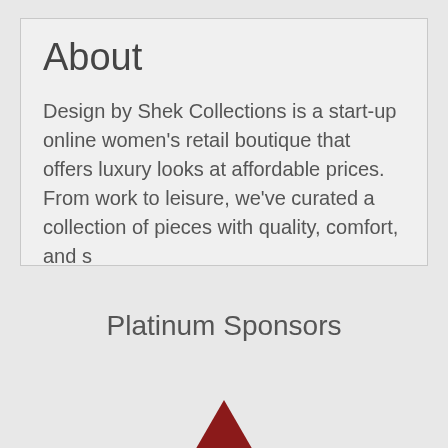About
Design by Shek Collections is a start-up online women's retail boutique that offers luxury looks at affordable prices. From work to leisure, we've curated a collection of pieces with quality, comfort, and s
Platinum Sponsors
[Figure (logo): Partial dark red triangle/arrow logo visible at bottom of page]